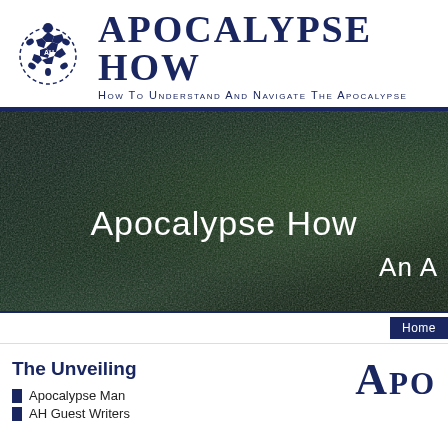[Figure (logo): Apocalypse How website logo: a turtle figure made of puzzle pieces with 'AH' letters, next to the site name and subtitle]
Apocalypse How
How to Understand and Navigate The Apocalypse
[Figure (photo): Dark banner image with textured dark green/black surface background showing text 'Apocalypse How' and 'An A' (truncated)]
Home
The Unveiling
Apocalypse Man
AH Guest Writers
[Figure (logo): Partial 'Apo' text logo in dark navy, large font, cut off at right edge]